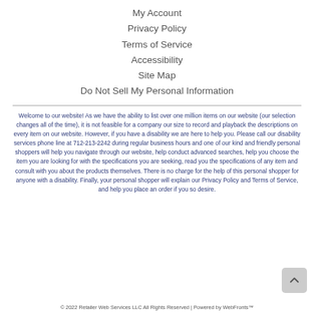My Account
Privacy Policy
Terms of Service
Accessibility
Site Map
Do Not Sell My Personal Information
Welcome to our website! As we have the ability to list over one million items on our website (our selection changes all of the time), it is not feasible for a company our size to record and playback the descriptions on every item on our website. However, if you have a disability we are here to help you. Please call our disability services phone line at 712-213-2242 during regular business hours and one of our kind and friendly personal shoppers will help you navigate through our website, help conduct advanced searches, help you choose the item you are looking for with the specifications you are seeking, read you the specifications of any item and consult with you about the products themselves. There is no charge for the help of this personal shopper for anyone with a disability. Finally, your personal shopper will explain our Privacy Policy and Terms of Service, and help you place an order if you so desire.
© 2022 Retailer Web Services LLC All Rights Reserved | Powered by WebFronts™